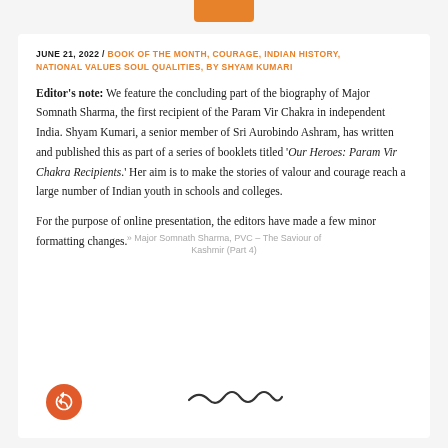JUNE 21, 2022 / BOOK OF THE MONTH, COURAGE, INDIAN HISTORY, NATIONAL VALUES SOUL QUALITIES, BY SHYAM KUMARI
Editor's note: We feature the concluding part of the biography of Major Somnath Sharma, the first recipient of the Param Vir Chakra in independent India. Shyam Kumari, a senior member of Sri Aurobindo Ashram, has written and published this as part of a series of booklets titled 'Our Heroes: Param Vir Chakra Recipients.' Her aim is to make the stories of valour and courage reach a large number of Indian youth in schools and colleges.
For the purpose of online presentation, the editors have made a few minor formatting changes.